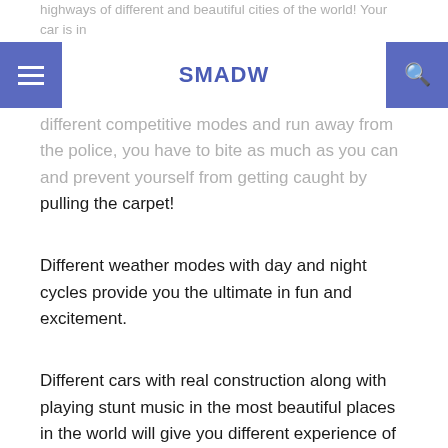SMADW
highways of different and beautiful cities of the world! Your car is in different competitive modes and run away from the police, you have to bite as much as you can and prevent yourself from getting caught by pulling the carpet!
Different weather modes with day and night cycles provide you the ultimate in fun and excitement.
Different cars with real construction along with playing stunt music in the most beautiful places in the world will give you different experience of car games.
advertisement
It brings you to your Android device. !
If you are a fan of Android games and racing games, then CarX Highway Racing will undoubtedly catch your attention!
You can see in the top...